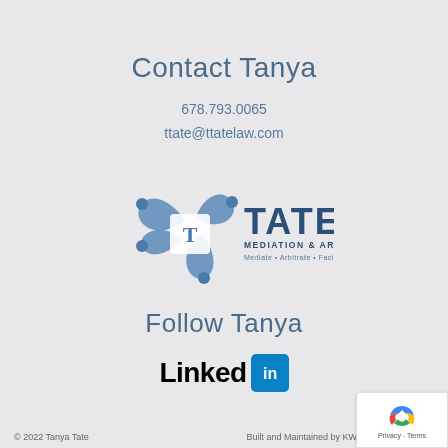Contact Tanya
678.793.0065
ttate@ttatelaw.com
[Figure (logo): Tate Mediation & Arbitration logo with stylized blue figures and T symbol, text reads TATE MEDIATION & ARBITRATION Mediate • Arbitrate • Facilitate]
Follow Tanya
[Figure (logo): LinkedIn logo - black text 'Linked' followed by blue square with white 'in']
© 2022 Tanya Tate    Built and Maintained by KWSM: a digital marke...